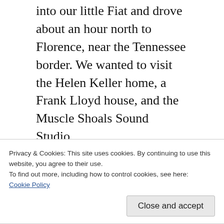into our little Fiat and drove about an hour north to Florence, near the Tennessee border. We wanted to visit the Helen Keller home, a Frank Lloyd house, and the Muscle Shoals Sound Studio.
I will write about the Helen Keller home tomorrow, along with our brief visit to the Frank Lloyd house (it was closed so we could
Privacy & Cookies: This site uses cookies. By continuing to use this website, you agree to their use.
To find out more, including how to control cookies, see here:
Cookie Policy
Close and accept